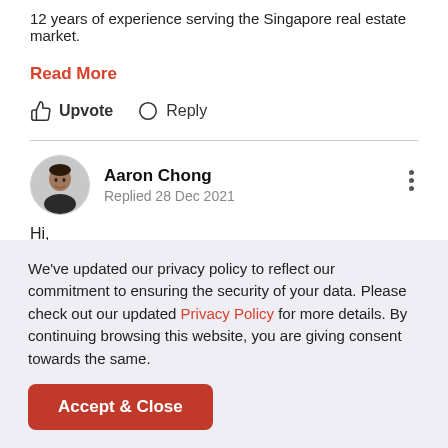12 years of experience serving the Singapore real estate market.
Read More
Upvote  Reply
Aaron Chong
Replied 28 Dec 2021
Hi,
We've updated our privacy policy to reflect our commitment to ensuring the security of your data. Please check out our updated Privacy Policy for more details. By continuing browsing this website, you are giving consent towards the same.
Accept & Close